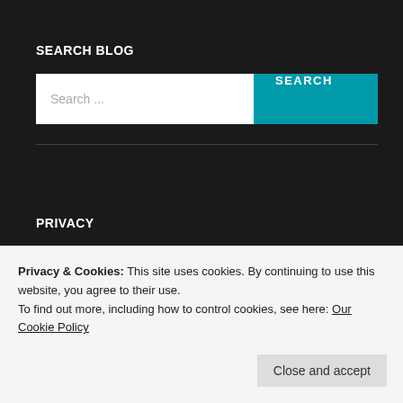SEARCH BLOG
Search ...
SEARCH
PRIVACY
Your privacy is important to us.  Please click here to view our Privacy and Cookies policy.
Privacy & Cookies: This site uses cookies. By continuing to use this website, you agree to their use.
To find out more, including how to control cookies, see here: Our Cookie Policy
Close and accept